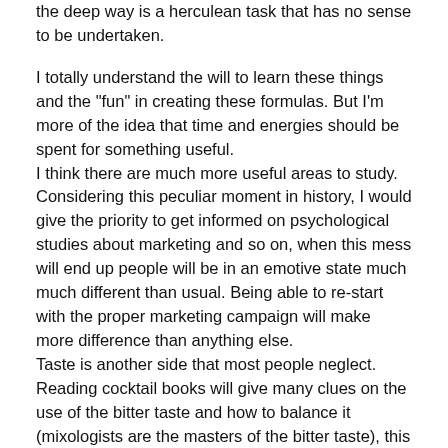the deep way is a herculean task that has no sense to be undertaken.

I totally understand the will to learn these things and the "fun" in creating these formulas. But I'm more of the idea that time and energies should be spent for something useful.
I think there are much more useful areas to study.
Considering this peculiar moment in history, I would give the priority to get informed on psychological studies about marketing and so on, when this mess will end up people will be in an emotive state much much different than usual. Being able to re-start with the proper marketing campaign will make more difference than anything else.
Taste is another side that most people neglect. Reading cocktail books will give many clues on the use of the bitter taste and how to balance it (mixologists are the masters of the bitter taste), this is something totally overlooked by chocolatiers, which is puzzling since chocolate is bitter. There is umami, another overlooked thing, it can give surprising results, to know how to deal with it you need to go out of the pastry zone (the dedicated books by Mouritsen and Anthony, many restaurant books). There is the pairing theory, a bonbon based on a well balanced pair of flavors